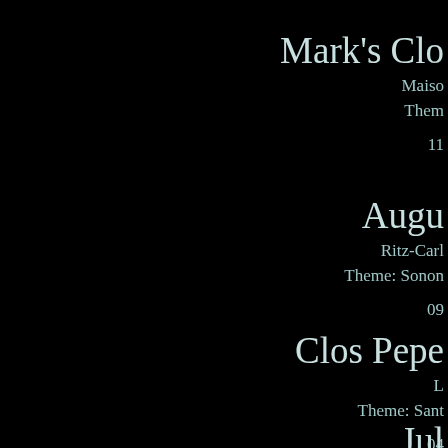Mark's Clo
Maiso
Them
11
Augu
Ritz-Carl
Theme: Sonon
09
Clos Pepe
L
Theme: Sant
04
Jul